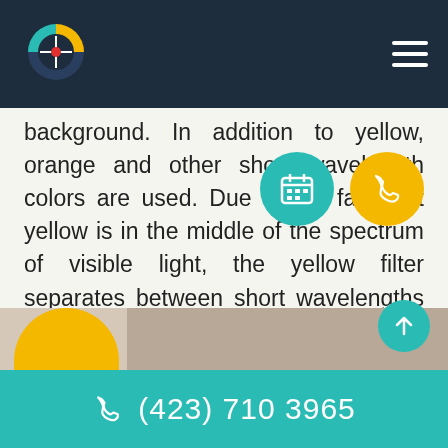Navigation bar with logo and hamburger menu
background. In addition to yellow, orange and other short wavelength colors are used. Due to the fact that yellow is in the middle of the spectrum of visible light, the yellow filter separates between short wavelengths and long wavelengths, thereby increasing the contrast. Yellow tint is also used in Escoop glasses, recommended for people with early stages of age related macular degeneration. To learn more about this visual aid, please click here.
[Figure (logo): Circular eye-care logo with teal, yellow, and red segments on dark navy background]
[Figure (infographic): Teal circle with calendar icon (floating button) and yellow circle with phone icon (floating button)]
[Figure (photo): Bottom strip showing partial photo of eyeglasses with yellow and teal accent circles]
(423) 710 3965